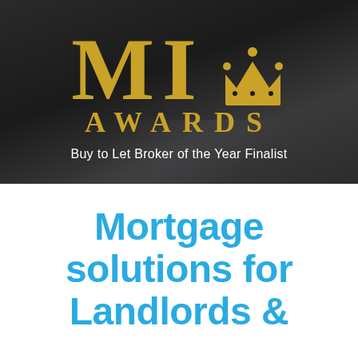[Figure (logo): MI Awards logo with gold letters MI, gold crown icon, gold AWARDS text, on dark background. Below: 'Buy to Let Broker of the Year Finalist' in white text.]
Mortgage solutions for Landlords &